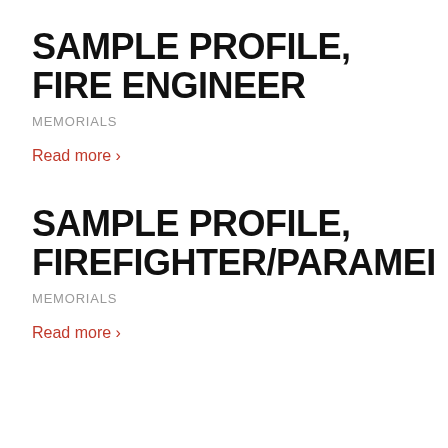SAMPLE PROFILE, FIRE ENGINEER
MEMORIALS
Read more ›
SAMPLE PROFILE, FIREFIGHTER/PARAMEI
MEMORIALS
Read more ›